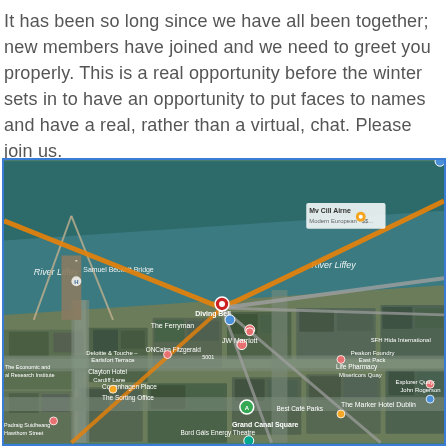It has been so long since we have all been together; new members have joined and we need to greet you properly. This is a real opportunity before the winter sets in to have an opportunity to put faces to names and have a real, rather than a virtual, chat. Please join us.
[Figure (map): Google Maps aerial/satellite view of the Dublin Docklands area showing the River Liffey, Samuel Beckett Bridge, Diving Bell, Grand Canal Square, The Marker Hotel Dublin, and surrounding streets and buildings. Orange and grey route lines radiate from a central red marker pin near the Diving Bell.]